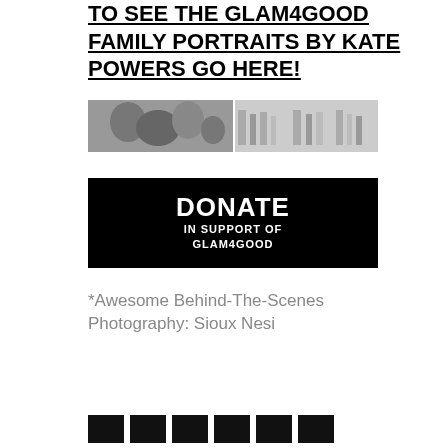TO SEE THE GLAM4GOOD FAMILY PORTRAITS BY KATE POWERS GO HERE!
[Figure (photo): Black and white strip photo showing multiple family portrait shots from Glam4Good event]
[Figure (infographic): Black banner reading DONATE IN SUPPORT OF GLAM4GOOD]
*Awesome Behind-The-Scenes Photography: Sioux Nesi
[Figure (other): Row of social media icon buttons at the bottom of the page]